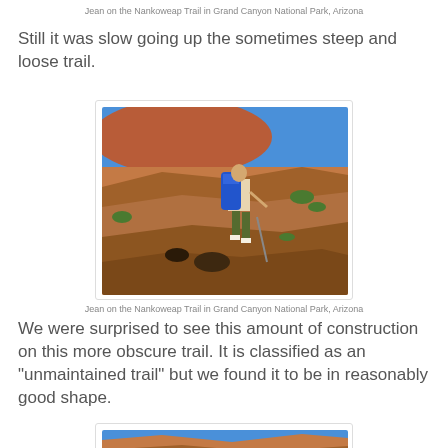Jean on the Nankoweap Trail in Grand Canyon National Park, Arizona
Still it was slow going up the sometimes steep and loose trail.
[Figure (photo): Hiker with blue backpack climbing steep rocky trail with reddish canyon walls and blue sky in background. Grand Canyon National Park.]
Jean on the Nankoweap Trail in Grand Canyon National Park, Arizona
We were surprised to see this amount of construction on this more obscure trail.  It is classified as an "unmaintained trail" but we found it to be in reasonably good shape.
[Figure (photo): Partial view of another trail photo, bottom of page.]